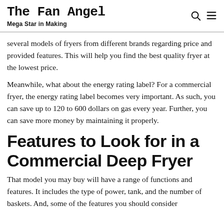The Fan Angel
Mega Star in Making
several models of fryers from different brands regarding price and provided features. This will help you find the best quality fryer at the lowest price.
Meanwhile, what about the energy rating label? For a commercial fryer, the energy rating label becomes very important. As such, you can save up to 120 to 600 dollars on gas every year. Further, you can save more money by maintaining it properly.
Features to Look for in a Commercial Deep Fryer
That model you may buy will have a range of functions and features. It includes the type of power, tank, and the number of baskets. And, some of the features you should consider